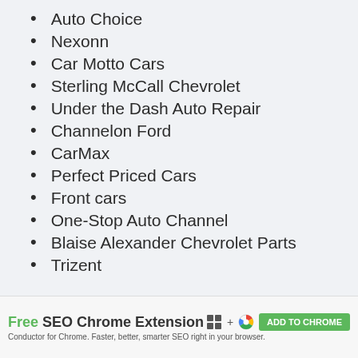Auto Choice
Nexonn
Car Motto Cars
Sterling McCall Chevrolet
Under the Dash Auto Repair
Channelon Ford
CarMax
Perfect Priced Cars
Front cars
One-Stop Auto Channel
Blaise Alexander Chevrolet Parts
Trizent
Free SEO Chrome Extension — Conductor for Chrome. Faster, better, smarter SEO right in your browser. ADD TO CHROME